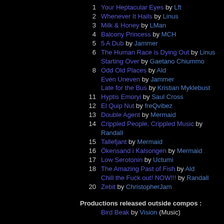1  Your Heptacular Eyes by Lft
2  Whenever It Hails by Linus
3  Milk & Honey by LMan
4  Balcony Princess by MCH
5  5 A Dub by Jammer
6  The Human Race is Dying Out by Linus
Starting Over by Gaetano Chiummo
8  Odd Old Places by Ald
Even Uneven by Jammer
Late for the Bus by Kristian Myklebust
11 Hyptis Emoryi by Saul Cross
12 El Quip Nut by freQvibez
13 Double Agent by Mermaid
14 Crippled People, Crippled Music by Randall
15 Tallefjant by Mermaid
16 Ökensand i Kalsongen by Mermaid
17 Low Serotonin by Uctumi
18 The Amazing Past of Fish by Ald
Chill the Fuck out! NOW!!! by Randall
20 Zebit by ChristopherJam
Productions released outside compos :
Bird Beak by Vision (Music)